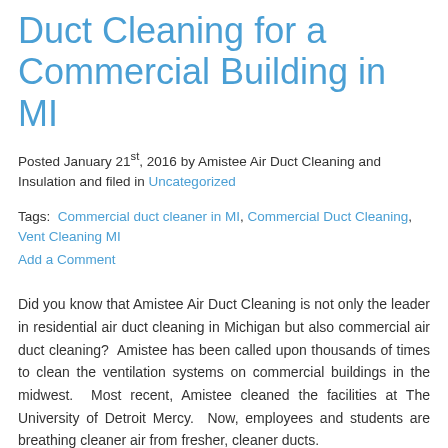Duct Cleaning for a Commercial Building in MI
Posted January 21st, 2016 by Amistee Air Duct Cleaning and Insulation and filed in Uncategorized
Tags: Commercial duct cleaner in MI, Commercial Duct Cleaning, Vent Cleaning MI
Add a Comment
Did you know that Amistee Air Duct Cleaning is not only the leader in residential air duct cleaning in Michigan but also commercial air duct cleaning? Amistee has been called upon thousands of times to clean the ventilation systems on commercial buildings in the midwest. Most recent, Amistee cleaned the facilities at The University of Detroit Mercy. Now, employees and students are breathing cleaner air from fresher, cleaner ducts.
[Figure (photo): Outdoor winter photo showing bare trees against a grey sky with a street lamp]